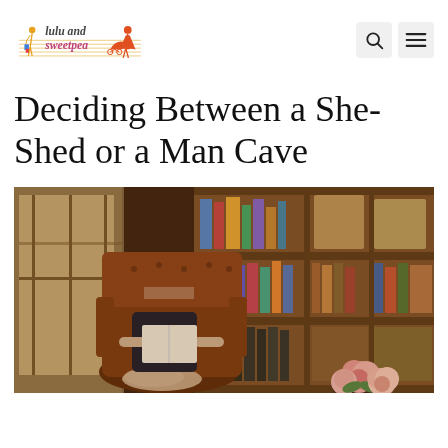lulu and sweetpea [logo] [search icon] [menu icon]
Deciding Between a She-Shed or a Man Cave
[Figure (photo): A person sitting in a leather armchair reading a book, surrounded by large wooden bookshelves filled with books and decorative items, with a window letting in natural light on the left and pink roses in the foreground.]